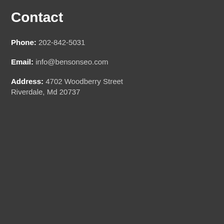Contact
Phone: 202-842-5031
Email: info@bensonseo.com
Address: 4702 Woodberry Street
Riverdale, Md 20737